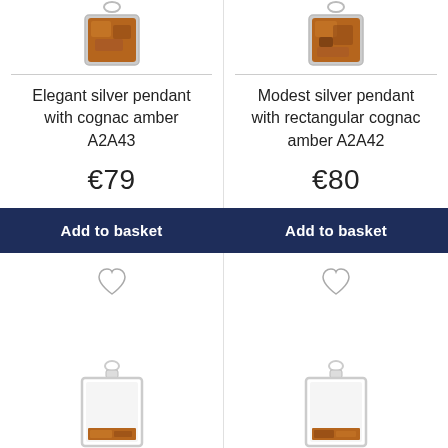[Figure (photo): Partial view of amber pendant top left]
[Figure (photo): Partial view of amber pendant top right]
Elegant silver pendant with cognac amber A2A43
€79
Add to basket
[Figure (illustration): Heart/wishlist icon]
Modest silver pendant with rectangular cognac amber A2A42
€80
Add to basket
[Figure (illustration): Heart/wishlist icon]
[Figure (photo): Silver rectangular pendant bottom left]
[Figure (photo): Silver rectangular pendant bottom right]